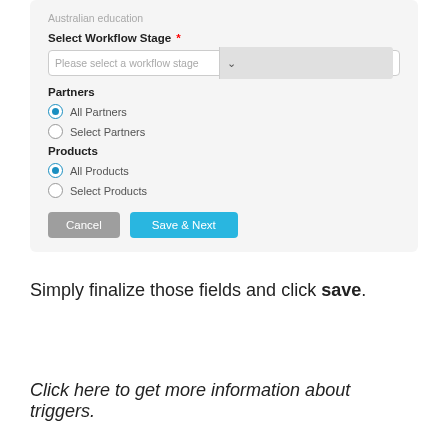[Figure (screenshot): A form UI screenshot showing: a dropdown for workflow stage with placeholder 'Please select a workflow stage', radio buttons for Partners (All Partners selected, Select Partners unselected), radio buttons for Products (All Products selected, Select Products unselected), and Cancel and Save & Next buttons.]
Simply finalize those fields and click save.
Click here to get more information about triggers.